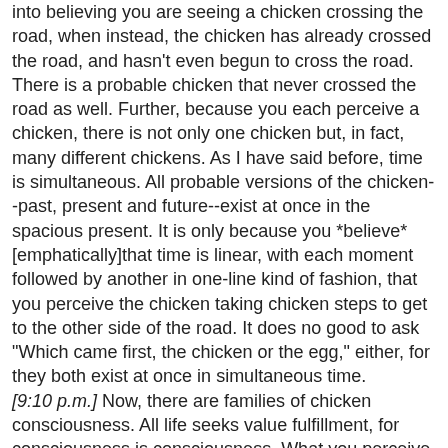into believing you are seeing a chicken crossing the road, when instead, the chicken has already crossed the road, and hasn't even begun to cross the road. There is a probable chicken that never crossed the road as well. Further, because you each perceive a chicken, there is not only one chicken but, in fact, many different chickens. As I have said before, time is simultaneous. All probable versions of the chicken--past, present and future--exist at once in the spacious present. It is only because you *believe* [emphatically]that time is linear, with each moment followed by another in one-line kind of fashion, that you perceive the chicken taking chicken steps to get to the other side of the road. It does no good to ask "Which came first, the chicken or the egg," either, for they both exist at once in simultaneous time.
[9:10 p.m.] Now, there are families of chicken consciousness. All life seeks value fulfillment, for consciousness is consciousness. What you perceive as a chicken may be something far different in another reality. The chicken may, for example, be a fragment personality of your entity. The chicken is no less than you are, however, simply because it is a chicken. Now, the chicken has its reality, and you have your reality. But the chicken is your other chicken.